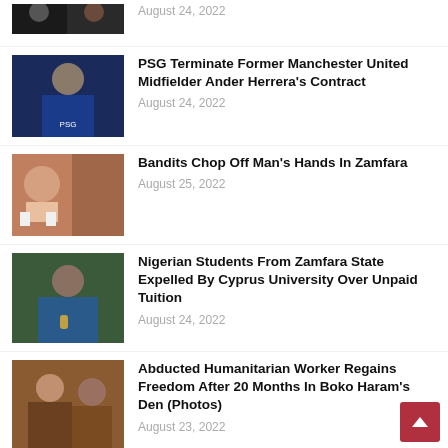[Figure (photo): Cropped photo of two people, partially visible at top]
August 24, 2022
[Figure (photo): PSG footballer Ander Herrera in blue jersey]
PSG Terminate Former Manchester United Midfielder Ander Herrera's Contract
August 24, 2022
[Figure (photo): Injured man's hands, bandaged]
Bandits Chop Off Man's Hands In Zamfara
August 25, 2022
[Figure (photo): Man in blue clothes speaking into microphone]
Nigerian Students From Zamfara State Expelled By Cyprus University Over Unpaid Tuition
August 24, 2022
[Figure (photo): Two people seated, woman with long hair in foreground]
Abducted Humanitarian Worker Regains Freedom After 20 Months In Boko Haram's Den (Photos)
August 23, 2022
[Figure (photo): Two men in traditional attire]
For Us Christians In The North, Muslim-Muslim Ticket Is Existential And Designed To Oppress, Kill And Eliminate Us - Babachir Lawal